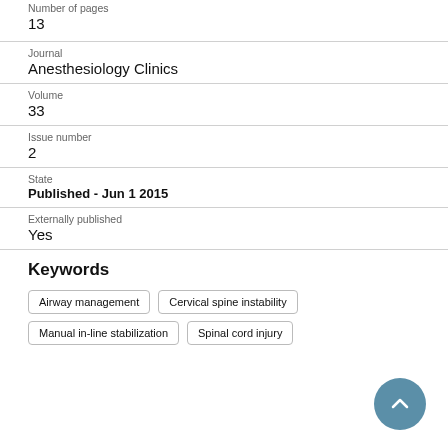Number of pages
13
Journal
Anesthesiology Clinics
Volume
33
Issue number
2
State
Published - Jun 1 2015
Externally published
Yes
Keywords
Airway management
Cervical spine instability
Manual in-line stabilization
Spinal cord injury